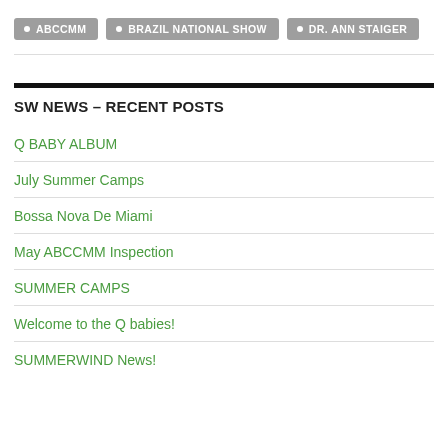ABCCMM
BRAZIL NATIONAL SHOW
DR. ANN STAIGER
SW NEWS – RECENT POSTS
Q BABY ALBUM
July Summer Camps
Bossa Nova De Miami
May ABCCMM Inspection
SUMMER CAMPS
Welcome to the Q babies!
SUMMERWIND News!